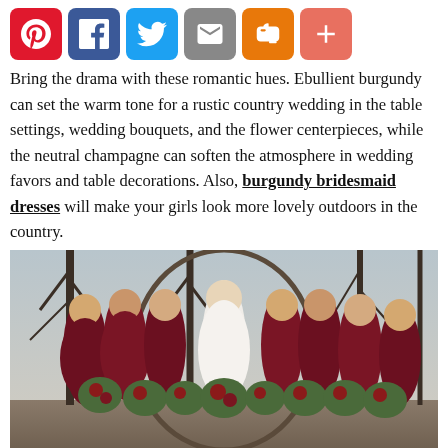[Figure (infographic): Social media share buttons: Pinterest (red), Facebook (blue), Twitter (light blue), Email (gray), Blogger (orange), Plus (coral)]
Bring the drama with these romantic hues. Ebullient burgundy can set the warm tone for a rustic country wedding in the table settings, wedding bouquets, and the flower centerpieces, while the neutral champagne can soften the atmosphere in wedding favors and table decorations. Also, burgundy bridesmaid dresses will make your girls look more lovely outdoors in the country.
[Figure (photo): A bride in a white lace dress surrounded by bridesmaids in burgundy/dark red velvet dresses, all holding large greenery bouquets with red roses, standing outdoors among bare winter trees.]